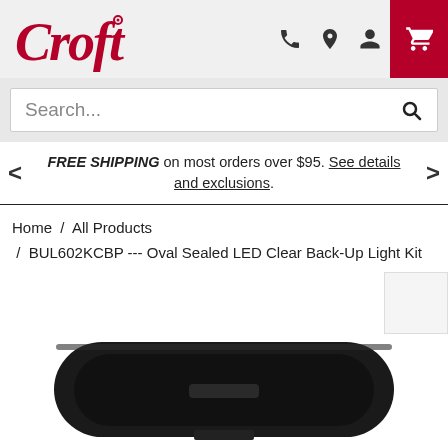Croft logo, navigation icons: phone, location, account, cart
Search...
FREE SHIPPING on most orders over $95. See details and exclusions.
Home / All Products / BUL602KCBP --- Oval Sealed LED Clear Back-Up Light Kit
[Figure (photo): Product photo of an oval sealed LED back-up light kit, showing a dark oval-shaped light fixture viewed from above, partially visible at the bottom of the page]